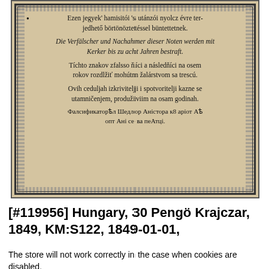[Figure (photo): Scan of a historical Hungarian banknote (30 Pengö Krajczar, 1849) showing multilingual anti-counterfeiting text in Hungarian, German, Slovak, Croatian, and Cyrillic/Serbian scripts, with decorative border pattern.]
[#119956] Hungary, 30 Pengö Krajczar, 1849, KM:S122, 1849-01-01,
The store will not work correctly in the case when cookies are disabled.